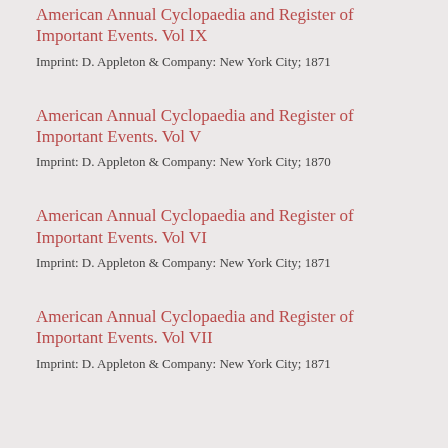American Annual Cyclopaedia and Register of Important Events. Vol IX
Imprint: D. Appleton & Company: New York City; 1871
American Annual Cyclopaedia and Register of Important Events. Vol V
Imprint: D. Appleton & Company: New York City; 1870
American Annual Cyclopaedia and Register of Important Events. Vol VI
Imprint: D. Appleton & Company: New York City; 1871
American Annual Cyclopaedia and Register of Important Events. Vol VII
Imprint: D. Appleton & Company: New York City; 1871